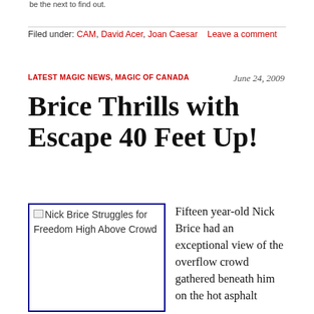be the next to find out.
Filed under: CAM, David Acer, Joan Caesar    Leave a comment
LATEST MAGIC NEWS, MAGIC OF CANADA
June 24, 2009
Brice Thrills with Escape 40 Feet Up!
[Figure (photo): Nick Brice Struggles for Freedom High Above Crowd]
Fifteen year-old Nick Brice had an exceptional view of the overflow crowd gathered beneath him on the hot asphalt on the lot of the